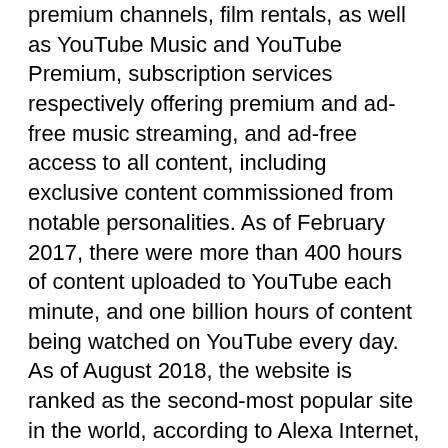premium channels, film rentals, as well as YouTube Music and YouTube Premium, subscription services respectively offering premium and ad-free music streaming, and ad-free access to all content, including exclusive content commissioned from notable personalities. As of February 2017, there were more than 400 hours of content uploaded to YouTube each minute, and one billion hours of content being watched on YouTube every day. As of August 2018, the website is ranked as the second-most popular site in the world, according to Alexa Internet, just behind Google. As of May 2019, more than 500 hours of video content are uploaded to YouTube every minute.
YouTube has faced criticism over aspects of its operations, including its handling of copyrighted content contained within uploaded videos, its recommendation algorithms perpetuating videos that promote conspiracy theories and falsehoods, hosting videos ostensibly targeting children but containing violent and/or sexually suggestive content involving popular characters, videos of minors attracting pedophilic activities in their comment sections, and fluctuating policies on the